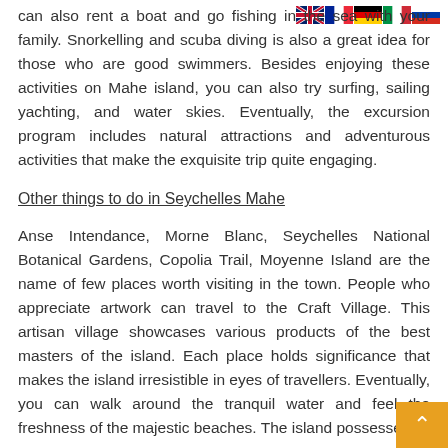[Figure (illustration): Row of country flags (UK, France, Germany, Italy, Russia) in the top right corner]
can also rent a boat and go fishing in the sea with your family. Snorkelling and scuba diving is also a great idea for those who are good swimmers. Besides enjoying these activities on Mahe island, you can also try surfing, sailing yachting, and water skies. Eventually, the excursion program includes natural attractions and adventurous activities that make the exquisite trip quite engaging.
Other things to do in Seychelles Mahe
Anse Intendance, Morne Blanc, Seychelles National Botanical Gardens, Copolia Trail, Moyenne Island are the name of few places worth visiting in the town. People who appreciate artwork can travel to the Craft Village. This artisan village showcases various products of the best masters of the island. Each place holds significance that makes the island irresistible in eyes of travellers. Eventually, you can walk around the tranquil water and feel the freshness of the majestic beaches. The island possesses